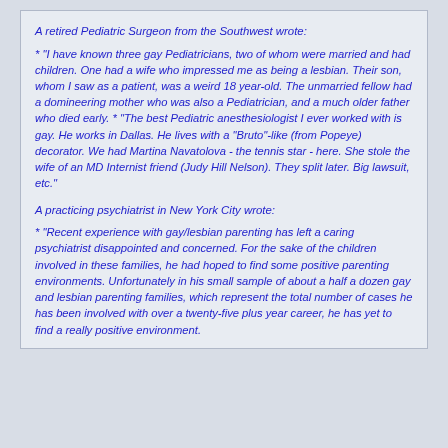A retired Pediatric Surgeon from the Southwest wrote:
* "I have known three gay Pediatricians, two of whom were married and had children. One had a wife who impressed me as being a lesbian. Their son, whom I saw as a patient, was a weird 18 year-old. The unmarried fellow had a domineering mother who was also a Pediatrician, and a much older father who died early. * "The best Pediatric anesthesiologist I ever worked with is gay. He works in Dallas. He lives with a "Bruto"-like (from Popeye) decorator. We had Martina Navatolova - the tennis star - here. She stole the wife of an MD Internist friend (Judy Hill Nelson). They split later. Big lawsuit, etc."
A practicing psychiatrist in New York City wrote:
* "Recent experience with gay/lesbian parenting has left a caring psychiatrist disappointed and concerned. For the sake of the children involved in these families, he had hoped to find some positive parenting environments. Unfortunately in his small sample of about a half a dozen gay and lesbian parenting families, which represent the total number of cases he has been involved with over a twenty-five plus year career, he has yet to find a really positive environment.